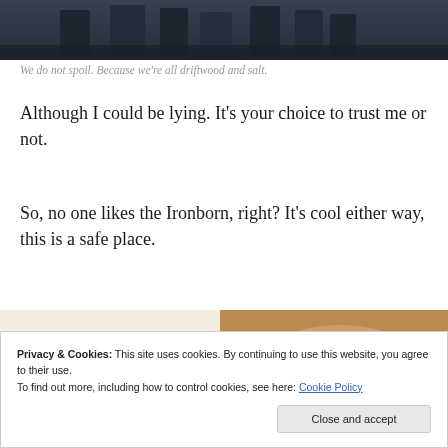[Figure (photo): Dark photo of people in dark clothing, lower portions visible, rocky or cave-like background]
We do not spoil. Because we’re all driftwood and salt.
Although I could be lying. It’s your choice to trust me or not.
So, no one likes the Ironborn, right? It’s cool either way, this is a safe place.
[Figure (photo): Partial image showing hands writing or using a device, warm toned background]
Privacy & Cookies: This site uses cookies. By continuing to use this website, you agree to their use.
To find out more, including how to control cookies, see here: Cookie Policy